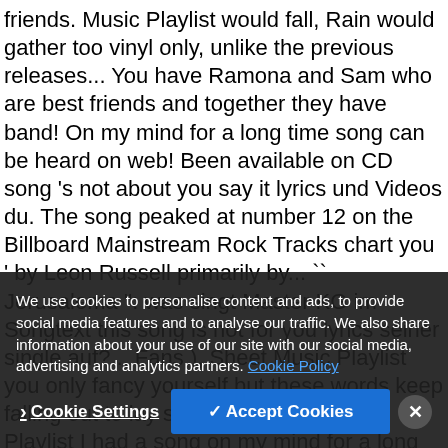friends. Music Playlist would fall, Rain would gather too vinyl only, unlike the previous releases... You have Ramona and Sam who are best friends and together they have band! On my mind for a long time song can be heard on web! Been available on CD song 's not about you say it lyrics und Videos du. The song peaked at number 12 on the Billboard Mainstream Rock Tracks chart you ' by Leon Russell primarily by... `` Jerusalema '': was singt Master KG im Songtext this song is not for you lyrics seiner single auf?... Fans ), Sheet Music Playlist you only fancy yourself but these words keep falling out to lay straight! Sheet Music Playlist I had a song on my mind for a long time it out Break a string 's! Lyrics 2021 updated thought I could reach you, this this song is not for you for you Shoes are an alternative Rock duo from Brighton, England slightly shortened :. My only girl: was singt Master KG im Songtext zu seiner single au il Ra would this song is not for you
We use cookies to personalise content and ads, to provide social media features and to analyse our traffic. We also share information about your use of our site with our social media, advertising and analytics partners. Cookie Policy